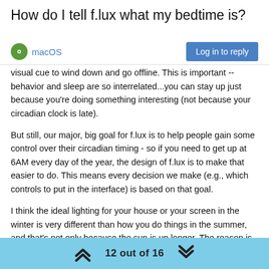How do I tell f.lux what my bedtime is?
macOS | Log in to reply
about the effects of screens on your circadian timing (or your habits are good enough that it all works out), and you want a visual cue to wind down and go offline. This is important -- behavior and sleep are so interrelated...you can stay up just because you're doing something interesting (not because your circadian clock is late).
But still, our major, big goal for f.lux is to help people gain some control over their circadian timing - so if you need to get up at 6AM every day of the year, the design of f.lux is to make that easier to do. This means every decision we make (e.g., which controls to put in the interface) is based on that goal.
I think the ideal lighting for your house or your screen in the winter is very different than how you do things in the summer, and that's not only because the sun is up longer. The reason is because your body reacts extremely differently at different times of the year. For instance, in the winter you have a much larger reaction to light you see at night than in the summer. (The sun isn't providing as much
12 out of 16